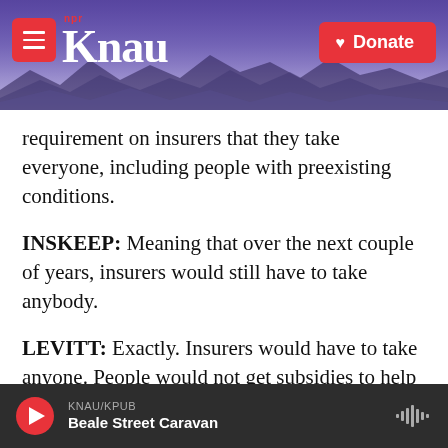[Figure (screenshot): KNAU NPR radio station website header with logo, hamburger menu, donate button, and mountain landscape background]
requirement on insurers that they take everyone, including people with preexisting conditions.
INSKEEP: Meaning that over the next couple of years, insurers would still have to take anybody.
LEVITT: Exactly. Insurers would have to take anyone. People would not get subsidies to help them buy insurance. And there would be no individual mandate to compel healthy people to sign up. So what the Congressional Budget Office has said is that premiums would immediately go up 20 to 25 percent next year, and eventually double
KNAU/KPUB — Beale Street Caravan